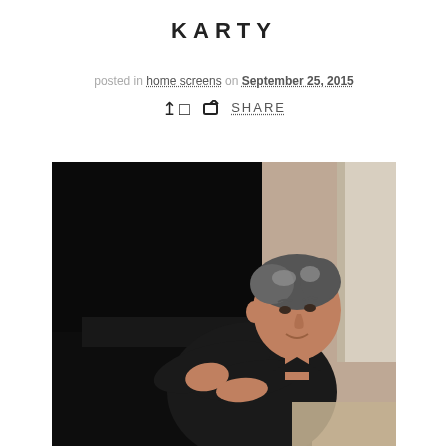KARTY
posted in home screens on September 25, 2015
SHARE
[Figure (photo): A man in a black t-shirt leaning over a piano keyboard, looking at the camera. The background shows a room with a door and carpeted floor. The photo is taken from a slightly elevated angle.]